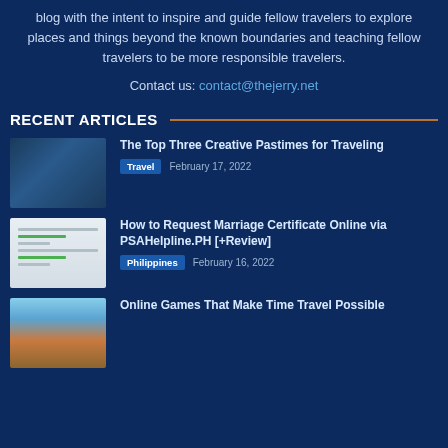blog with the intent to inspire and guide fellow travelers to explore places and things beyond the known boundaries and teaching fellow travelers to be more responsible travelers.
Contact us: contact@thejerry.net
RECENT ARTICLES
[Figure (photo): Dark blue textured background image, thumbnail for article about creative pastimes for traveling]
The Top Three Creative Pastimes for Traveling
Travel   February 17, 2022
[Figure (screenshot): Screenshot of PSAHelpline.PH website with form fields and green buttons]
How to Request Marriage Certificate Online via PSAHelpline.PH [+Review]
Philippines   February 16, 2022
[Figure (photo): Photo with blue sky and ancient stone ruins, thumbnail for article about online games and time travel]
Online Games That Make Time Travel Possible